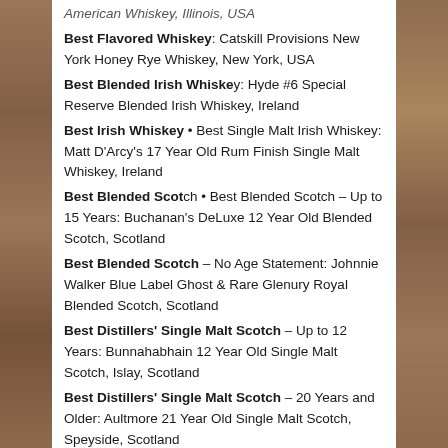American Whiskey, Illinois, USA
Best Flavored Whiskey: Catskill Provisions New York Honey Rye Whiskey, New York, USA
Best Blended Irish Whiskey: Hyde #6 Special Reserve Blended Irish Whiskey, Ireland
Best Irish Whiskey • Best Single Malt Irish Whiskey: Matt D'Arcy's 17 Year Old Rum Finish Single Malt Whiskey, Ireland
Best Blended Scotch • Best Blended Scotch – Up to 15 Years: Buchanan's DeLuxe 12 Year Old Blended Scotch, Scotland
Best Blended Scotch – No Age Statement: Johnnie Walker Blue Label Ghost & Rare Glenury Royal Blended Scotch, Scotland
Best Distillers' Single Malt Scotch – Up to 12 Years: Bunnahabhain 12 Year Old Single Malt Scotch, Islay, Scotland
Best Distillers' Single Malt Scotch – 20 Years and Older: Aultmore 21 Year Old Single Malt Scotch, Speyside, Scotland
Best Distillers' Single Malt Scotch – (continues)